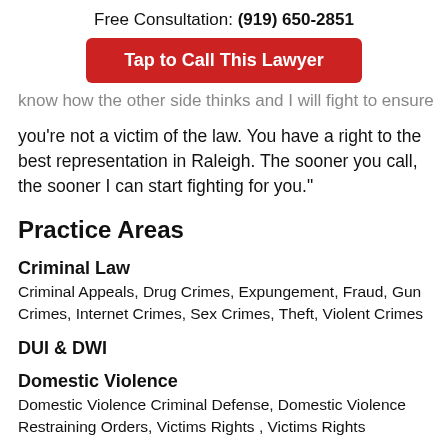Free Consultation: (919) 650-2851
Tap to Call This Lawyer
know how the other side thinks and I will fight to ensure you're not a victim of the law. You have a right to the best representation in Raleigh. The sooner you call, the sooner I can start fighting for you."
Practice Areas
Criminal Law
Criminal Appeals, Drug Crimes, Expungement, Fraud, Gun Crimes, Internet Crimes, Sex Crimes, Theft, Violent Crimes
DUI & DWI
Domestic Violence
Domestic Violence Criminal Defense, Domestic Violence Restraining Orders, Victims Rights , Victims Rights